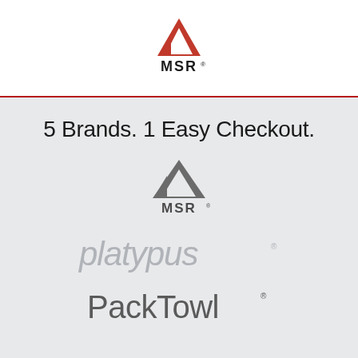[Figure (logo): MSR (Mountain Safety Research) logo in red and black with mountain peak icon on white background]
5 Brands. 1 Easy Checkout.
[Figure (logo): MSR logo in dark gray on light gray background]
[Figure (logo): platypus brand logo in light gray text]
[Figure (logo): PackTowl brand logo in dark gray text]